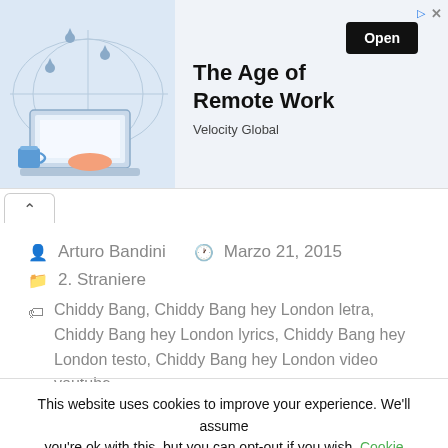[Figure (illustration): Advertisement banner: 'The Age of Remote Work' by Velocity Global with an Open button, showing a laptop and map illustration]
Arturo Bandini   Marzo 21, 2015
2. Straniere
Chiddy Bang, Chiddy Bang hey London letra, Chiddy Bang hey London lyrics, Chiddy Bang hey London testo, Chiddy Bang hey London video youtube
This website uses cookies to improve your experience. We'll assume you're ok with this, but you can opt-out if you wish. Cookie settings